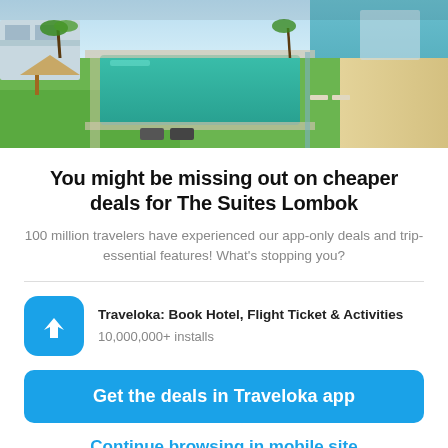[Figure (photo): Aerial view of a resort with a turquoise pool, green lawn, palm trees, and beach/ocean in the background.]
You might be missing out on cheaper deals for The Suites Lombok
100 million travelers have experienced our app-only deals and trip-essential features! What's stopping you?
[Figure (logo): Traveloka app icon: blue rounded square with a white bird/arrow logo. App name: Traveloka: Book Hotel, Flight Ticket & Activities. 10,000,000+ installs.]
Get the deals in Traveloka app
Continue browsing in mobile site